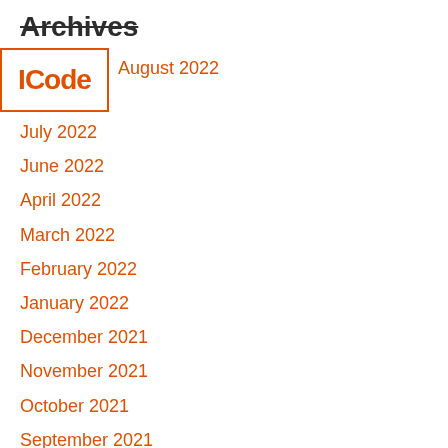Archives
[Figure (logo): ICode logo in orange with border box]
August 2022
July 2022
June 2022
April 2022
March 2022
February 2022
January 2022
December 2021
November 2021
October 2021
September 2021
August 2021
July 2021